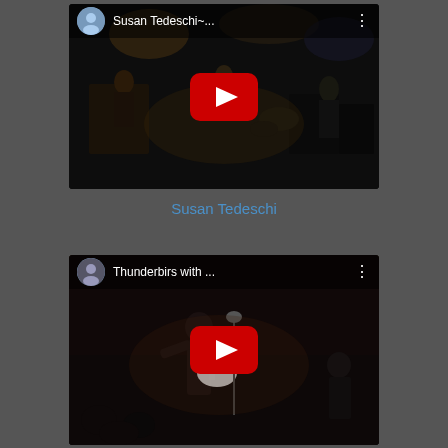[Figure (screenshot): YouTube video thumbnail for Susan Tedeschi concert performance. Shows band on stage with title 'Susan Tedeschi~...' and three-dot menu icon. Red YouTube play button in center.]
Susan Tedeschi
[Figure (screenshot): YouTube video thumbnail for Thunderbirds with ... concert performance. Shows guitarist performing on stage. Title 'Thunderbirds with ...' with three-dot menu icon. Red YouTube play button in center.]